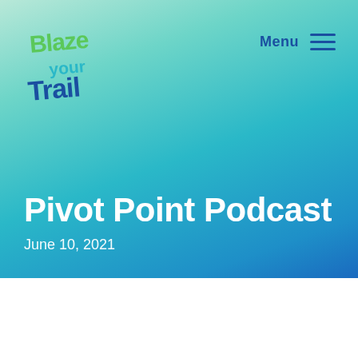[Figure (logo): Blaze Your Trail logo — stylized colorful text with green and blue lettering]
Menu
Pivot Point Podcast
June 10, 2021